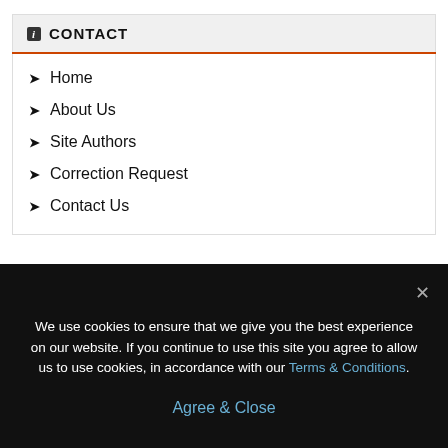i  CONTACT
> Home
> About Us
> Site Authors
> Correction Request
> Contact Us
We use cookies to ensure that we give you the best experience on our website. If you continue to use this site you agree to allow us to use cookies, in accordance with our Terms & Conditions.
Agree & Close